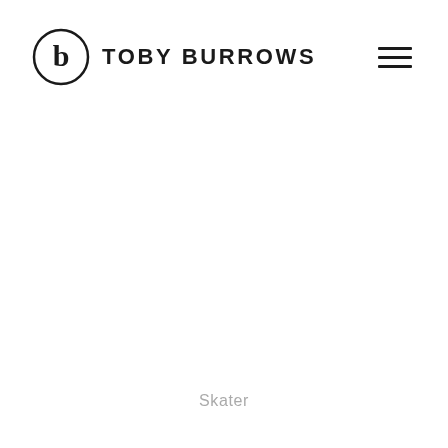[Figure (logo): Toby Burrows logo: circular emblem with stylized lowercase 'b' inside, next to bold uppercase text TOBY BURROWS, with hamburger menu icon on the right]
Skater